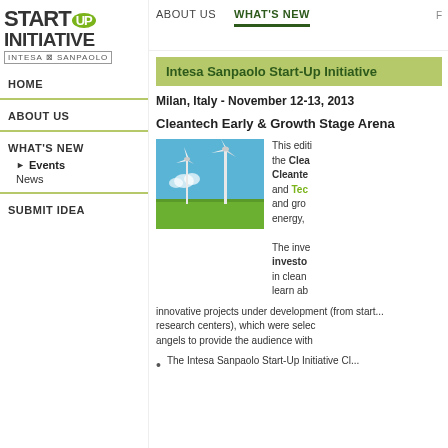START UP INITIATIVE - INTESA SANPAOLO | ABOUT US | WHAT'S NEW
Intesa Sanpaolo Start-Up Initiative
Milan, Italy - November 12-13, 2013
Cleantech Early & Growth Stage Arena
[Figure (photo): Two white wind turbines in a green field under a blue sky]
This edition focuses on the Cleantech and Cleantech Early Stage and Technology and growth stage of energy, ...
The investors and investors in cleantech learn about innovative projects under development (from start... research centers), which were selected... angels to provide the audience with...
The Intesa Sanpaolo Start-Up Initiative Cl...